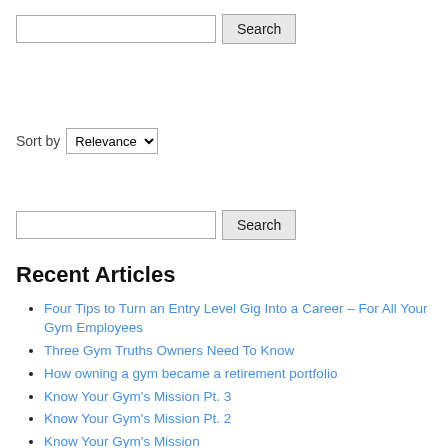[Figure (screenshot): Search input field with Search button]
Sort by Relevance
[Figure (screenshot): Second search input field with Search button]
Recent Articles
Four Tips to Turn an Entry Level Gig Into a Career – For All Your Gym Employees
Three Gym Truths Owners Need To Know
How owning a gym became a retirement portfolio
Know Your Gym's Mission Pt. 3
Know Your Gym's Mission Pt. 2
Know Your Gym's Mission
The Insights Of Bruce Lee
How Your Gym Benefits From a Great Preventative